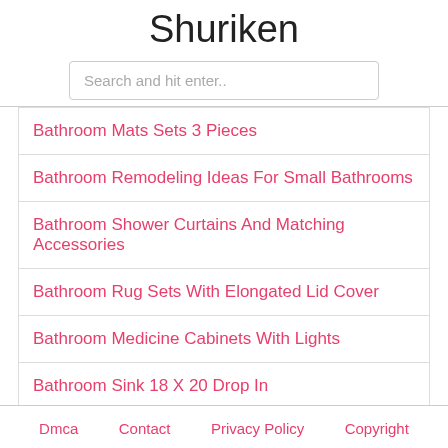Shuriken
Search and hit enter..
Bathroom Mats Sets 3 Pieces
Bathroom Remodeling Ideas For Small Bathrooms
Bathroom Shower Curtains And Matching Accessories
Bathroom Rug Sets With Elongated Lid Cover
Bathroom Medicine Cabinets With Lights
Bathroom Sink 18 X 20 Drop In
Dmca   Contact   Privacy Policy   Copyright